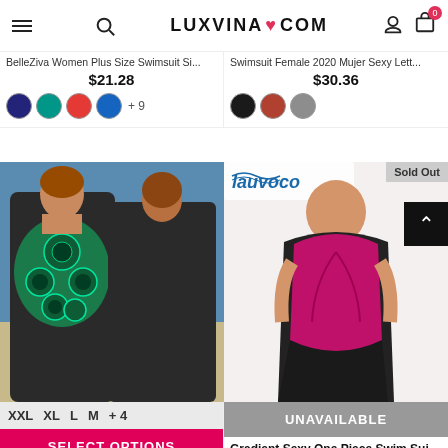LUXVINA ♥ COM — navigation bar with hamburger menu, search, logo, user icon, cart (0)
BelleZiva Women Plus Size Swimsuit Si...
$21.28
Swimsuit Female 2020 Mujer Sexy Lett...
$30.36
[Figure (photo): Peacock print one-piece swimsuit shown on two models at a beach — front and back view, black with green/teal peacock feather pattern]
XXL  XL  L  M  + 4
SELECT OPTIONS
[Figure (photo): Gradient magenta/dark one-piece swimsuit on a plus-size model, with Lauvoco brand logo and Sold Out badge]
UNAVAILABLE
Bikini 2020 Sexy Women Plus Size Pea...
$12.88
Gradient Sexy One Piece Swim Suits Pl...
$42.92